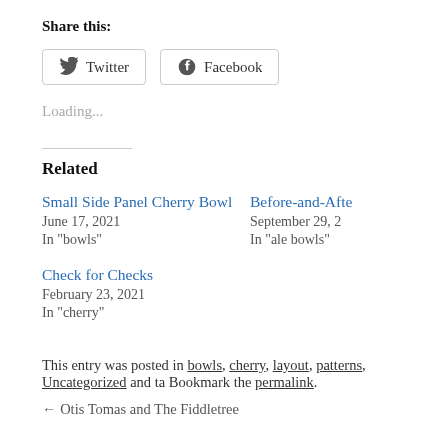Share this:
[Figure (other): Social share buttons: Twitter and Facebook]
Loading...
Related
Small Side Panel Cherry Bowl
June 17, 2021
In "bowls"
Before-and-Afte...
September 29, 2...
In "ale bowls"
Check for Checks
February 23, 2021
In "cherry"
This entry was posted in bowls, cherry, layout, patterns, Uncategorized and ta... Bookmark the permalink.
← Otis Tomas and The Fiddletree